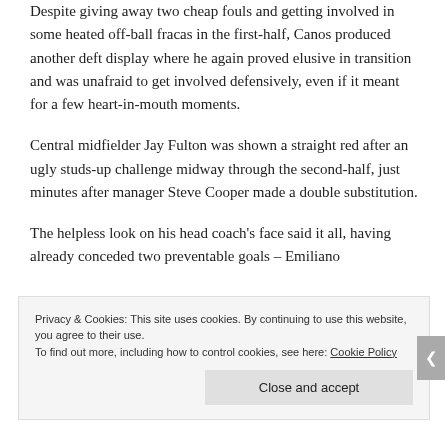Despite giving away two cheap fouls and getting involved in some heated off-ball fracas in the first-half, Canos produced another deft display where he again proved elusive in transition and was unafraid to get involved defensively, even if it meant for a few heart-in-mouth moments.
Central midfielder Jay Fulton was shown a straight red after an ugly studs-up challenge midway through the second-half, just minutes after manager Steve Cooper made a double substitution.
The helpless look on his head coach's face said it all, having already conceded two preventable goals – Emiliano
Privacy & Cookies: This site uses cookies. By continuing to use this website, you agree to their use.
To find out more, including how to control cookies, see here: Cookie Policy